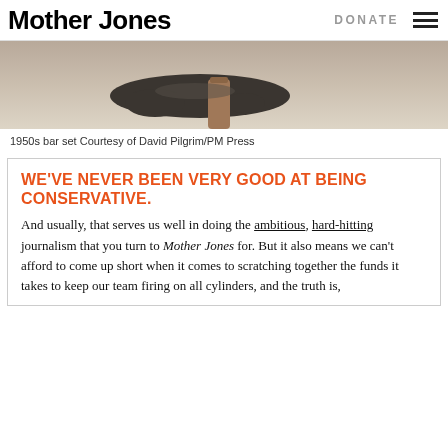Mother Jones | DONATE
[Figure (photo): Close-up photo of a 1950s bar set, showing dark metallic bar tools and a tan/brown cylindrical piece against a light beige background.]
1950s bar set Courtesy of David Pilgrim/PM Press
WE'VE NEVER BEEN VERY GOOD AT BEING CONSERVATIVE.
And usually, that serves us well in doing the ambitious, hard-hitting journalism that you turn to Mother Jones for. But it also means we can't afford to come up short when it comes to scratching together the funds it takes to keep our team firing on all cylinders, and the truth is,